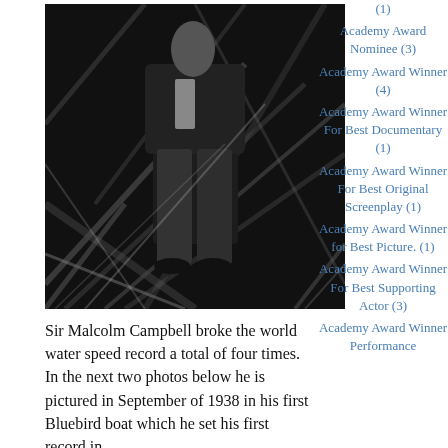[Figure (photo): Black and white photograph of a man in a suit standing among palm fronds or tropical vegetation]
Sir Malcolm Campbell broke the world water speed record a total of four times. In the next two photos below he is pictured in September of 1938 in his first Bluebird boat which he set his first record in.
(1)
Academy Award Nominee (3)
Academy Award Winner (4)
Academy Award Winner For Best Documentary (1)
Academy Award Winner For Best Original Screenplay (1)
Academy Award Winner for Best Picture. (1)
Academy Award Winner For Best Supporting Actor (3)
Academy Award Winner Performance